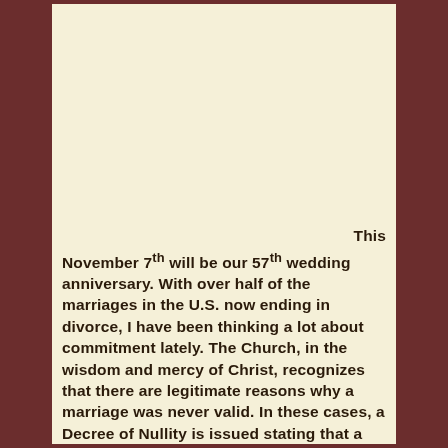This November 7th will be our 57th wedding anniversary. With over half of the marriages in the U.S. now ending in divorce, I have been thinking a lot about commitment lately.  The Church, in the wisdom and mercy of Christ, recognizes that there are legitimate reasons why a marriage was never valid.  In these cases, a Decree of Nullity is issued stating that a